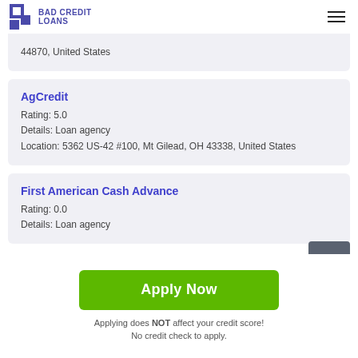BAD CREDIT LOANS
44870, United States
AgCredit
Rating: 5.0
Details: Loan agency
Location: 5362 US-42 #100, Mt Gilead, OH 43338, United States
First American Cash Advance
Rating: 0.0
Details: Loan agency
Apply Now
Applying does NOT affect your credit score!
No credit check to apply.